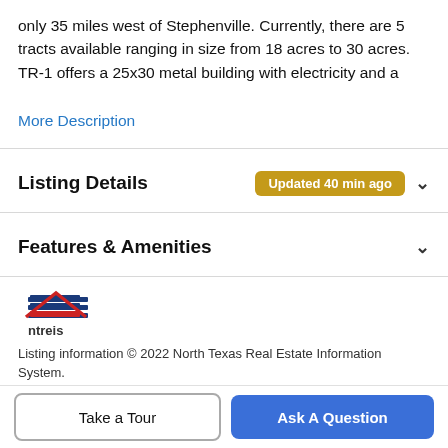only 35 miles west of Stephenville. Currently, there are 5 tracts available ranging in size from 18 acres to 30 acres. TR-1 offers a 25x30 metal building with electricity and a
More Description
Listing Details Updated 40 min ago
Features & Amenities
[Figure (logo): NTREIS logo — stylized house/building mark above the text 'ntreis']
Listing information © 2022 North Texas Real Estate Information System.
Schools
Take a Tour
Ask A Question